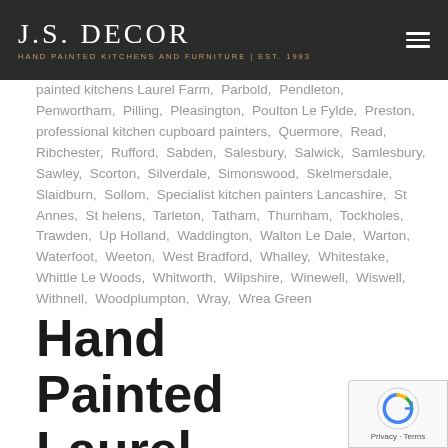J.S. DECOR — HAND PAINTED KITCHENS AND FURNITURE | EST. 1993
painted kitchens Laurel Farm, Parbold, Pendleton, Penwortham, Pilling, Pleasington, Poulton Le Fylde, Preston, professional kitchen cupboard painters, Quermore, Read, Ribchester, Rufford, Sabden, Salesbury, Salwick, Samlesbury, Sawley, Scorton, Silverdale, Simonswood, Skelmersdale, Slaidburn, Sollom, Specialist kitchen painters Lancashire, St Annes, St helens, Tarleton, Tatham, Thurnham, Tockholes, Trawden, Up Holland, Waddington, Walton Le Dale, Warton, Waterfoot, Weeton, West Bradford, Whalley, Whitestake, Whittle Le Woods, Whitworth, Wilpshire, Winewell, Wiswell, Withnell, Woodplumpton, Wray, Wrea Green
Hand Painted Laurel Farm Kitchen By JS